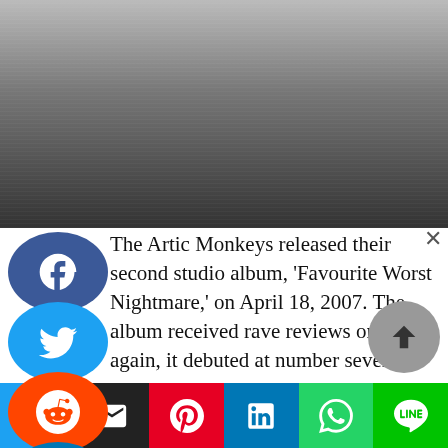[Figure (photo): Dark grayscale photo strip at top of page, showing a dimly lit scene]
The Artic Monkeys released their second studio album, 'Favourite Worst Nightmare,' on April 18, 2007. The album received rave reviews once again, it debuted at number seven on Billboard's 200 chart. The band then embarked on a world tour, which was recorded and released as 'At the Apollo' November 3, 2008, to generally positive reviews. 'Humbug,' the Arctic Monkeys' third studio album, was released on August 19, 2009. Despite receiving universally positive reviews, the
[Figure (other): Bottom social share bar with Twitter, Email, Pinterest, LinkedIn, WhatsApp, and Line buttons]